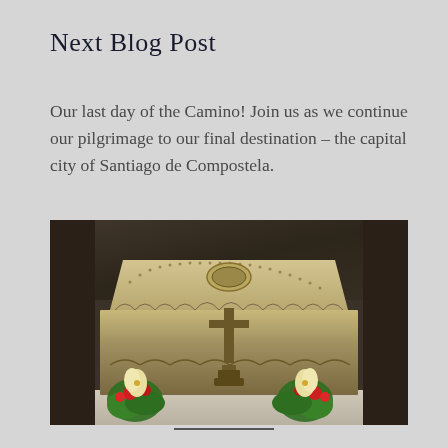Next Blog Post
Our last day of the Camino! Join us as we continue our pilgrimage to our final destination – the capital city of Santiago de Compostela.
[Figure (photo): Ornate silver reliquary shrine with religious figures and decorations, flanked by two flower arrangements with white and red flowers and green foliage, displayed in a dark stone alcove in Santiago de Compostela cathedral.]